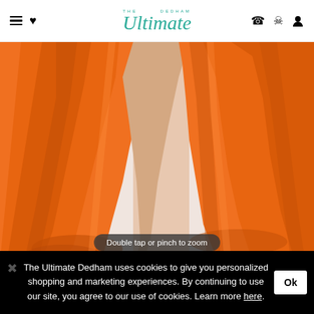The Ultimate Dedham — navigation header with hamburger menu, heart icon, logo, phone icon, user icon
[Figure (photo): Close-up photo of a flowing orange chiffon/pleated dress or skirt against a light background, showing dramatic fabric drape with a slit]
Double tap or pinch to zoom
The Ultimate Dedham uses cookies to give you personalized shopping and marketing experiences. By continuing to use our site, you agree to our use of cookies. Learn more here.